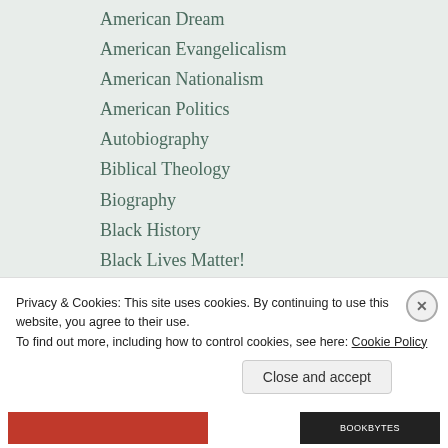American Dream
American Evangelicalism
American Nationalism
American Politics
Autobiography
Biblical Theology
Biography
Black History
Black Lives Matter!
Call for Papers
Caring
Christian eschatology
Christian evangelism
Christian Hope
Privacy & Cookies: This site uses cookies. By continuing to use this website, you agree to their use.
To find out more, including how to control cookies, see here: Cookie Policy
Close and accept